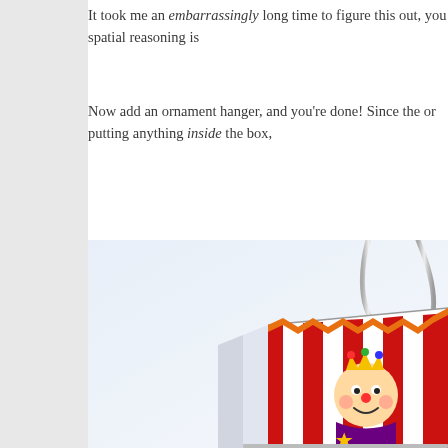It took me an embarrassingly long time to figure this out, you spatial reasoning is
Now add an ornament hanger, and you're done! Since the or putting anything inside the box,
[Figure (illustration): A colorful circus tent ornament with red and white stripes, featuring a clown/jester figure, with a silver ornament hanger at the top decorated with multicolored beads. The ornament is shown against a light blue-white gradient background.]